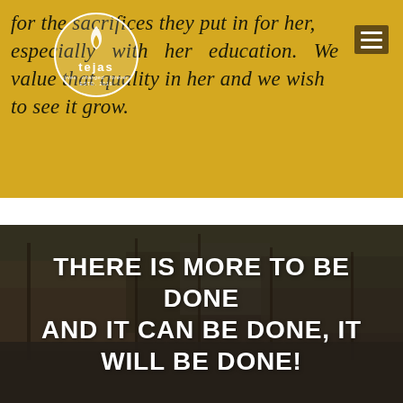for the sacrifices they put in for her, especially with her education. We value that quality in her and we wish to see it grow.
[Figure (logo): Tejas organization logo — circular white border with flame icon and 'tejas' text, tagline 'lives · changed · forever', est. 2019]
THERE IS MORE TO BE DONE AND IT CAN BE DONE, IT WILL BE DONE!